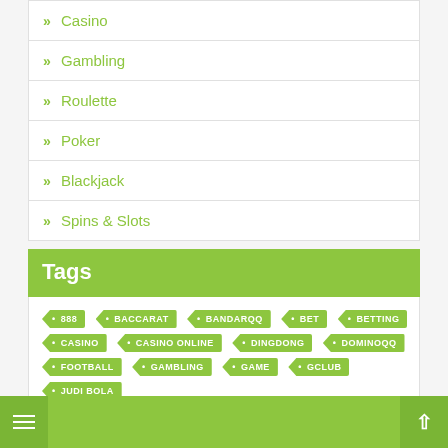Casino
Gambling
Roulette
Poker
Blackjack
Spins & Slots
Tags
888 • BACCARAT • BANDARQQ • BET • BETTING • CASINO • CASINO ONLINE • DINGDONG • DOMINOQQ • FOOTBALL • GAMBLING • GAME • GCLUB • JUDI BOLA